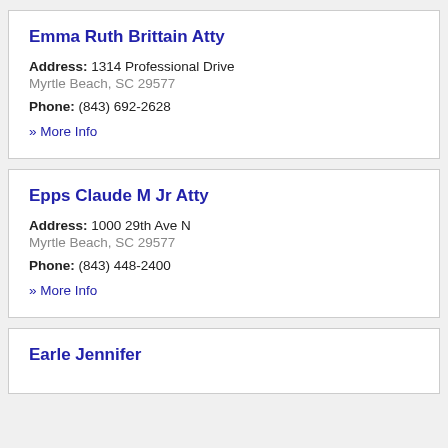Emma Ruth Brittain Atty
Address: 1314 Professional Drive
Myrtle Beach, SC 29577
Phone: (843) 692-2628
» More Info
Epps Claude M Jr Atty
Address: 1000 29th Ave N
Myrtle Beach, SC 29577
Phone: (843) 448-2400
» More Info
Earle Jennifer